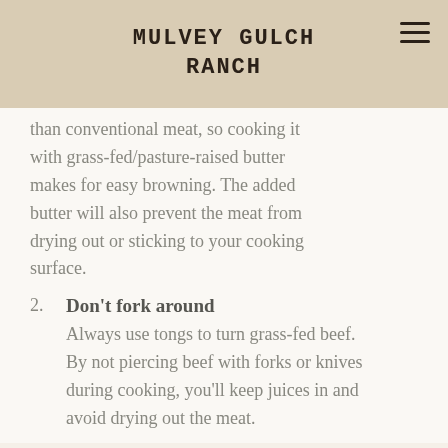MULVEY GULCH RANCH
than conventional meat, so cooking it with grass-fed/pasture-raised butter makes for easy browning. The added butter will also prevent the meat from drying out or sticking to your cooking surface.
2. Don't fork around
Always use tongs to turn grass-fed beef. By not piercing beef with forks or knives during cooking, you'll keep juices in and avoid drying out the meat.